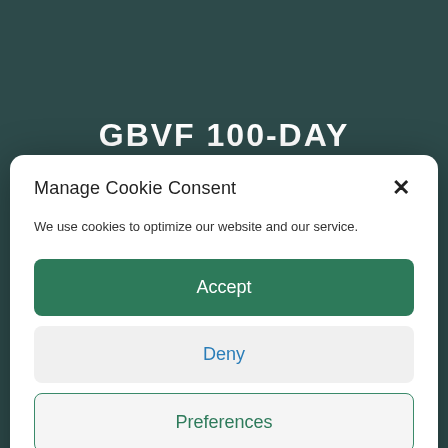GBVF 100-DAY CHALLENGES
Manage Cookie Consent
We use cookies to optimize our website and our service.
Accept
Deny
Preferences
Privacy Policy